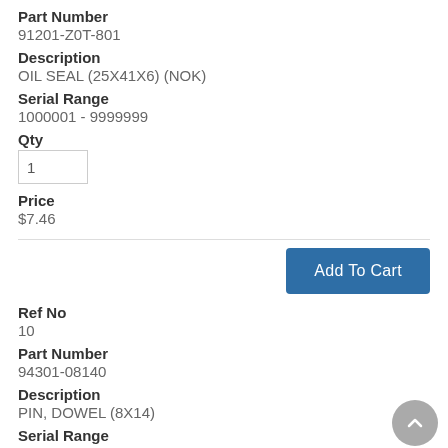Part Number
91201-Z0T-801
Description
OIL SEAL (25X41X6) (NOK)
Serial Range
1000001 - 9999999
Qty
1
Price
$7.46
Add To Cart
Ref No
10
Part Number
94301-08140
Description
PIN, DOWEL (8X14)
Serial Range
1000001 - 9999999